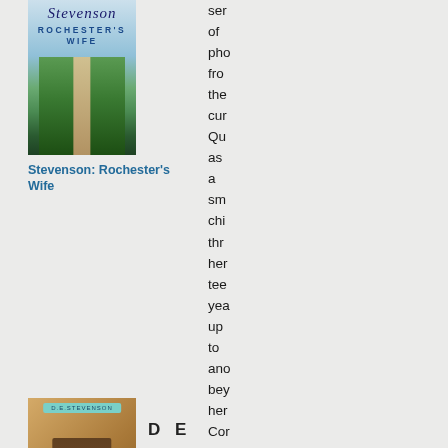[Figure (illustration): Book cover: Stevenson Rochester's Wife, showing countryside road with stone walls and green fields]
Stevenson: Rochester's Wife
[Figure (illustration): Book cover: The Baker's Daughter by D.E. Stevenson, showing a woman in vintage clothing walking away]
D E
Stevenson: The Baker's Daughter
[Figure (photo): Photo of an older woman wearing a tiara, presumably royalty or aristocracy]
James Pope-
ser
of
pho
fro
the
cur
Qu
as
a
sm
chi
thr
her
tee
yea
up
to
ano
bey
her
Cor
ano
l